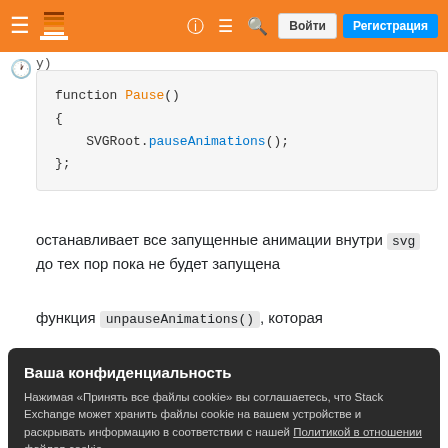Stack Overflow navigation bar with Войти and Регистрация buttons
[Figure (screenshot): Code block showing: function Pause() { SVGRoot.pauseAnimations(); };]
останавливает все запущенные анимации внутри svg до тех пор пока не будет запущена
функция unpauseAnimations(), которая
Ваша конфиденциальность
Нажимая «Принять все файлы cookie» вы соглашаетесь, что Stack Exchange может хранить файлы cookie на вашем устройстве и раскрывать информацию в соответствии с нашей Политикой в отношении файлов cookie.
Принять все файлы cookie   Настроить параметры
[Figure (screenshot): Partially visible code block showing: var innerCircle = null; var outerCircle = null;]